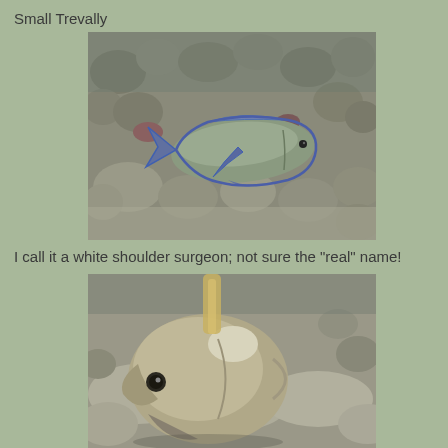Small Trevally
[Figure (photo): Underwater photo of a Small Trevally fish with blue-edged fins swimming above a rocky coral reef.]
I call it a white shoulder surgeon; not sure the "real" name!
[Figure (photo): Close-up underwater photo of a white shoulder surgeonfish (possibly a butterflyfish or surgeonfish) with tan/grey coloring near sandy bottom.]